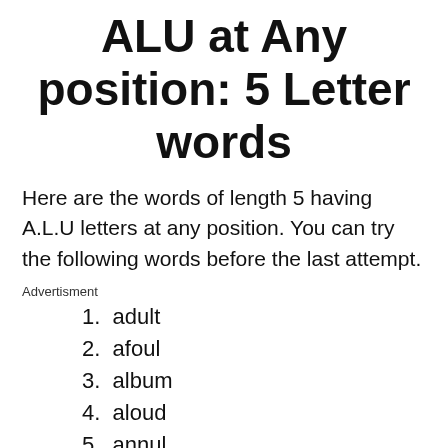ALU at Any position: 5 Letter words
Here are the words of length 5 having A.L.U letters at any position. You can try the following words before the last attempt.
Advertisment
1. adult
2. afoul
3. album
4. aloud
5. annul
6. awful
7. caulk
8. equal
9. fault
10. ...